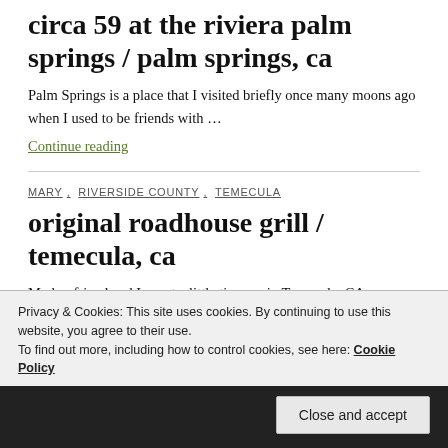circa 59 at the riviera palm springs / palm springs, ca
Palm Springs is a place that I visited briefly once many moons ago when I used to be friends with …
Continue reading
MARY , RIVERSIDE COUNTY , TEMECULA
original roadhouse grill / temecula, ca
My boyfriend and I spent a little time up in Temecula, CA
Privacy & Cookies: This site uses cookies. By continuing to use this website, you agree to their use.
To find out more, including how to control cookies, see here: Cookie Policy
Close and accept